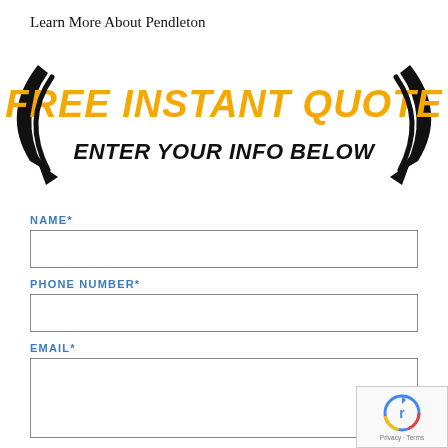Learn More About Pendleton
[Figure (infographic): Banner with curved black arrows on left and right pointing downward, orange bold italic text 'FREE INSTANT QUOTE' and black bold italic text 'ENTER YOUR INFO BELOW']
NAME*
PHONE NUMBER*
EMAIL*
[Figure (other): reCAPTCHA badge with spinning arrow icon and 'Privacy - Terms' text]